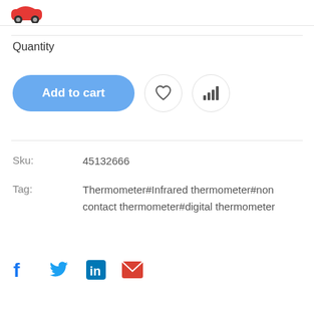[Figure (logo): Red car icon partially visible at top left]
Quantity
Add to cart
Sku:	45132666
Tag:	Thermometer#Infrared thermometer#non contact thermometer#digital thermometer
[Figure (infographic): Social sharing icons: Facebook (blue f), Twitter (blue bird), LinkedIn (blue in), Email (red envelope)]